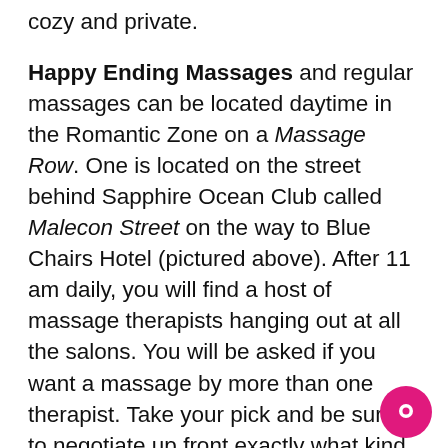cozy and private.
Happy Ending Massages and regular massages can be located daytime in the Romantic Zone on a Massage Row. One is located on the street behind Sapphire Ocean Club called Malecon Street on the way to Blue Chairs Hotel (pictured above). After 11 am daily, you will find a host of massage therapists hanging out at all the salons. You will be asked if you want a massage by more than one therapist. Take your pick and be sure to negotiate up front exactly what kind of massage you want. Not every therapist will be interested in giving a happy ending.
Where are the best cruising spots at night in Puerto Vallarta: Check Spartacus Sauna, PV's men only gay bathhouse. You will find everything